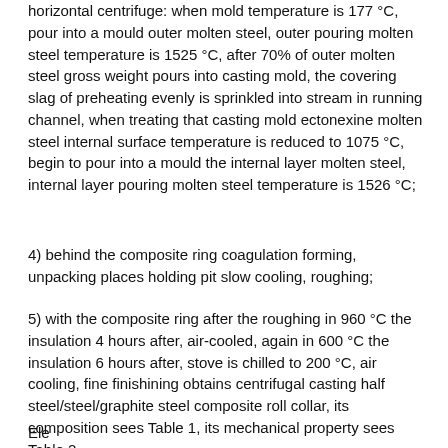horizontal centrifuge: when mold temperature is 177 °C, pour into a mould outer molten steel, outer pouring molten steel temperature is 1525 °C, after 70% of outer molten steel gross weight pours into casting mold, the covering slag of preheating evenly is sprinkled into stream in running channel, when treating that casting mold ectonexine molten steel internal surface temperature is reduced to 1075 °C, begin to pour into a mould the internal layer molten steel, internal layer pouring molten steel temperature is 1526 °C;
4) behind the composite ring coagulation forming, unpacking places holding pit slow cooling, roughing;
5) with the composite ring after the roughing in 960 °C the insulation 4 hours after, air-cooled, again in 600 °C the insulation 6 hours after, stove is chilled to 200 °C, air cooling, fine finishining obtains centrifugal casting half steel/steel/graphite steel composite roll collar, its composition sees Table 1, its mechanical property sees Table 2.
Ele